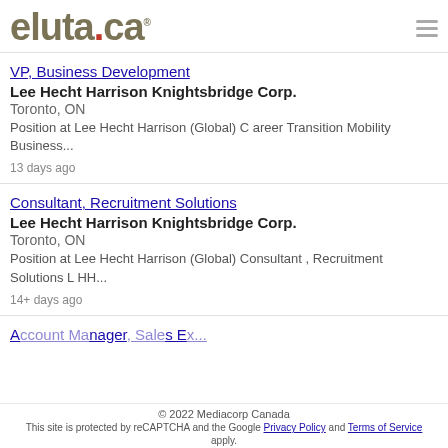eluta.ca
VP, Business Development
Lee Hecht Harrison Knightsbridge Corp.
Toronto, ON
Position at Lee Hecht Harrison (Global) C areer Transition Mobility Business...
13 days ago
Consultant, Recruitment Solutions
Lee Hecht Harrison Knightsbridge Corp.
Toronto, ON
Position at Lee Hecht Harrison (Global) Consultant , Recruitment Solutions L HH...
14+ days ago
Account Manager, Sales...
© 2022 Mediacorp Canada
This site is protected by reCAPTCHA and the Google Privacy Policy and Terms of Service apply.